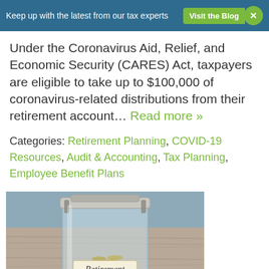Keep up with the latest from our tax experts  Visit the Blog ×
Under the Coronavirus Aid, Relief, and Economic Security (CARES) Act, taxpayers are eligible to take up to $100,000 of coronavirus-related distributions from their retirement account… Read more »
Categories: Retirement Planning, COVID-19 Resources, Audit & Accounting, Tax Planning, Employee Benefit Plans
[Figure (photo): A glass jar labeled 'Retirement' filled with coins, sitting on a wooden surface]